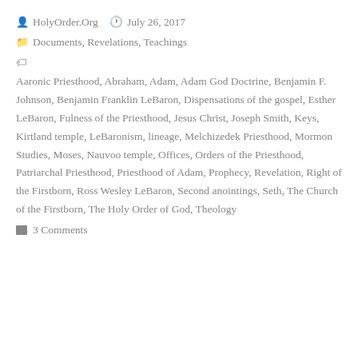HolyOrder.Org   July 26, 2017
Documents, Revelations, Teachings
Aaronic Priesthood, Abraham, Adam, Adam God Doctrine, Benjamin F. Johnson, Benjamin Franklin LeBaron, Dispensations of the gospel, Esther LeBaron, Fulness of the Priesthood, Jesus Christ, Joseph Smith, Keys, Kirtland temple, LeBaronism, lineage, Melchizedek Priesthood, Mormon Studies, Moses, Nauvoo temple, Offices, Orders of the Priesthood, Patriarchal Priesthood, Priesthood of Adam, Prophecy, Revelation, Right of the Firstborn, Ross Wesley LeBaron, Second anointings, Seth, The Church of the Firstborn, The Holy Order of God, Theology
3 Comments